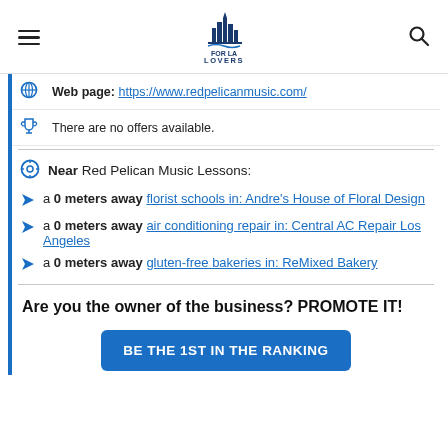FOR LA LOVERS
Web page: https://www.redpelicanmusic.com/
There are no offers available.
Near Red Pelican Music Lessons:
a 0 meters away florist schools in: Andre's House of Floral Design
a 0 meters away air conditioning repair in: Central AC Repair Los Angeles
a 0 meters away gluten-free bakeries in: ReMixed Bakery
Are you the owner of the business? PROMOTE IT!
BE THE 1ST IN THE RANKING